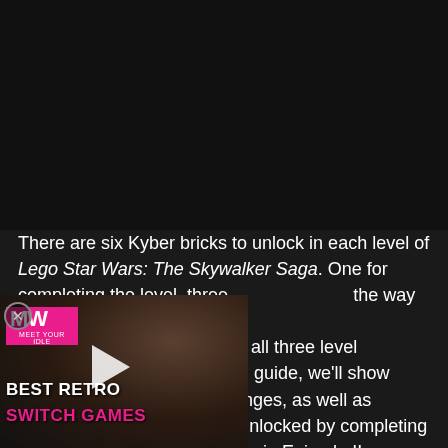[Figure (screenshot): Dark background area (black/very dark) taking up top half of page, representing a video game screenshot area]
There are six Kyber bricks to unlock in each level of Lego Star Wars: The Skywalker Saga. One for completing the level, three the way to True Jedi, one for or completing all three level y Frenzy level guide, we'll show its and challenges, as well as outline what characters are unlocked by completing the level Droid Factory Frenzy in Episode II.
[Figure (screenshot): Ad overlay showing MW (MobilityWare or similar) logo in pink/magenta, with a dark fantasy character image, play button, and text 'BEST RETRO SWITCH GAMES']